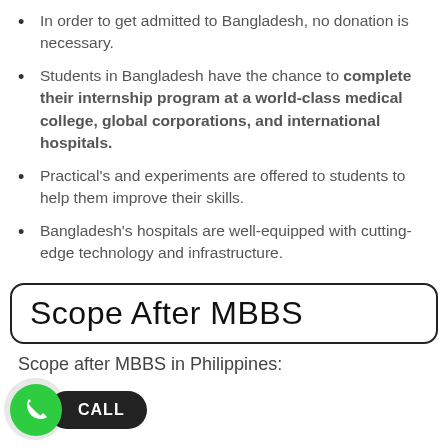In order to get admitted to Bangladesh, no donation is necessary.
Students in Bangladesh have the chance to complete their internship program at a world-class medical college, global corporations, and international hospitals.
Practical's and experiments are offered to students to help them improve their skills.
Bangladesh's hospitals are well-equipped with cutting-edge technology and infrastructure.
Scope After MBBS
Scope after MBBS in Philippines: